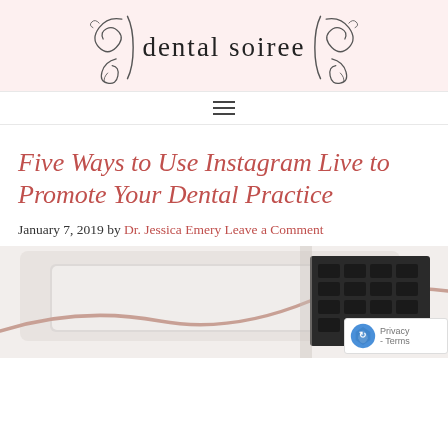dental soiree
[Figure (logo): Dental soiree logo with ornamental script and decorative swirl flourishes on left and right]
[Figure (other): Hamburger/menu icon with three horizontal lines]
Five Ways to Use Instagram Live to Promote Your Dental Practice
January 7, 2019 by Dr. Jessica Emery Leave a Comment
[Figure (photo): Close-up photo of a laptop keyboard and trackpad with a rose gold cable, on a white surface]